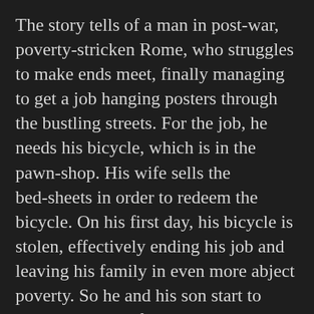The story tells of a man in post-war, poverty-stricken Rome, who struggles to make ends meet, finally managing to get a job hanging posters through the bustling streets. For the job, he needs his bicycle, which is in the pawn-shop. His wife sells the bed-sheets in order to redeem the bicycle. On his first day, his bicycle is stolen, effectively ending his job and leaving his family in even more abject poverty. So he and his son start to scour the streets for the dastardly thieves.
This is a story told by real people about real problems faced by the desperately poor. The head of the family is driven to test all his resolve and push beyond the boundaries of moral behaviour as he and his son desperately